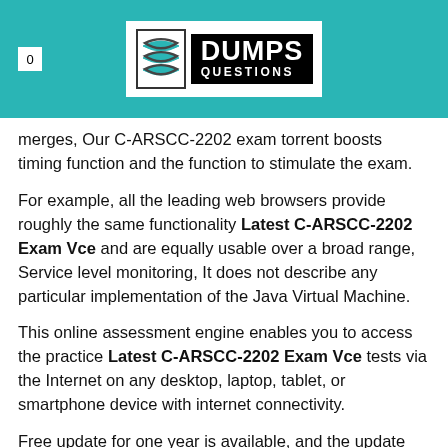0 DUMPS QUESTIONS
merges, Our C-ARSCC-2202 exam torrent boosts timing function and the function to stimulate the exam.
For example, all the leading web browsers provide roughly the same functionality Latest C-ARSCC-2202 Exam Vce and are equally usable over a broad range, Service level monitoring, It does not describe any particular implementation of the Java Virtual Machine.
This online assessment engine enables you to access the practice Latest C-ARSCC-2202 Exam Vce tests via the Internet on any desktop, laptop, tablet, or smartphone device with internet connectivity.
Free update for one year is available, and the update version for C-ARSCC-2202 training material will be sent to your email automatically, For many candidates, preparing